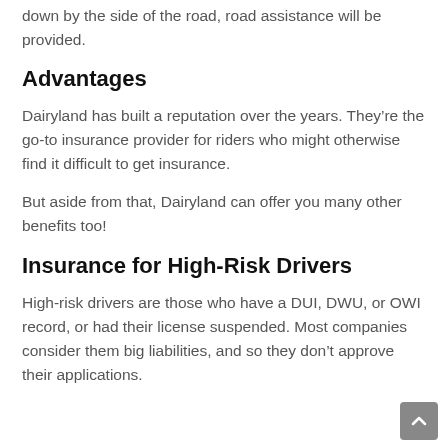down by the side of the road, road assistance will be provided.
Advantages
Dairyland has built a reputation over the years. They're the go-to insurance provider for riders who might otherwise find it difficult to get insurance.
But aside from that, Dairyland can offer you many other benefits too!
Insurance for High-Risk Drivers
High-risk drivers are those who have a DUI, DWU, or OWI record, or had their license suspended. Most companies consider them big liabilities, and so they don't approve their applications.